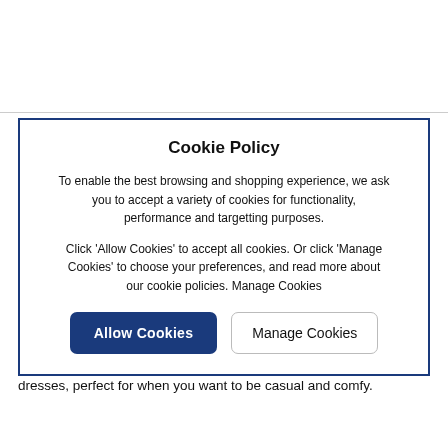Cookie Policy
To enable the best browsing and shopping experience, we ask you to accept a variety of cookies for functionality, performance and targetting purposes.
Click 'Allow Cookies' to accept all cookies. Or click 'Manage Cookies' to choose your preferences, and read more about our cookie policies. Manage Cookies
Top Tip: These trainers look great in the summer with midi skirts and dresses, perfect for when you want to be casual and comfy.